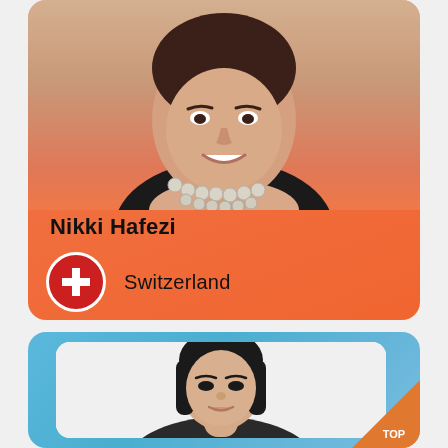[Figure (photo): Profile card for Nikki Hafezi with orange/salmon gradient background, photo of smiling woman with pearl necklace, Swiss flag icon, name and country label]
Nikki Hafezi
Switzerland
[Figure (photo): Profile card with blue gradient background, photo of Asian woman, TOP badge in orange at bottom right corner]